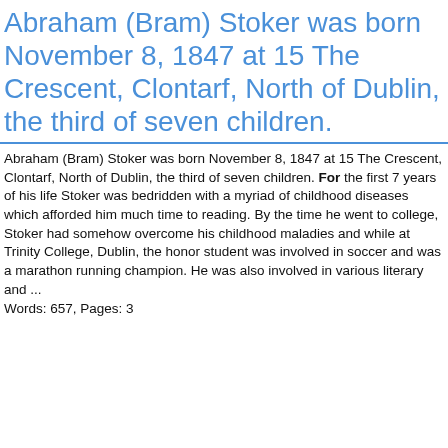Abraham (Bram) Stoker was born November 8, 1847 at 15 The Crescent, Clontarf, North of Dublin, the third of seven children.
Abraham (Bram) Stoker was born November 8, 1847 at 15 The Crescent, Clontarf, North of Dublin, the third of seven children. For the first 7 years of his life Stoker was bedridden with a myriad of childhood diseases which afforded him much time to reading. By the time he went to college, Stoker had somehow overcome his childhood maladies and while at Trinity College, Dublin, the honor student was involved in soccer and was a marathon running champion. He was also involved in various literary and ...
Words: 657, Pages: 3